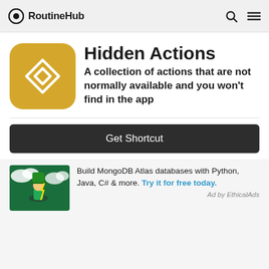RoutineHub
Hidden Actions
A collection of actions that are not normally available and you won't find in the app
Get Shortcut
Build MongoDB Atlas databases with Python, Java, C# & more. Try it for free today.
Ad by EthicalAds